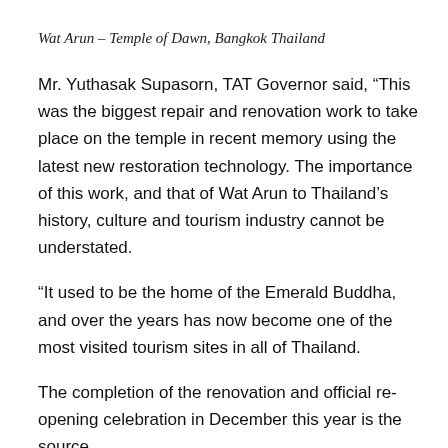Wat Arun – Temple of Dawn, Bangkok Thailand
Mr. Yuthasak Supasorn, TAT Governor said, “This was the biggest repair and renovation work to take place on the temple in recent memory using the latest new restoration technology. The importance of this work, and that of Wat Arun to Thailand’s history, culture and tourism industry cannot be understated.
“It used to be the home of the Emerald Buddha, and over the years has now become one of the most visited tourism sites in all of Thailand.
The completion of the renovation and official re-opening celebration in December this year is the source